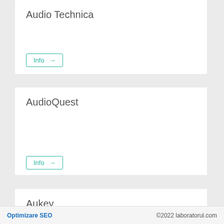Audio Technica
Info →
AudioQuest
Info →
Aukey
Optimizare SEO    ©2022 laboratorul.com